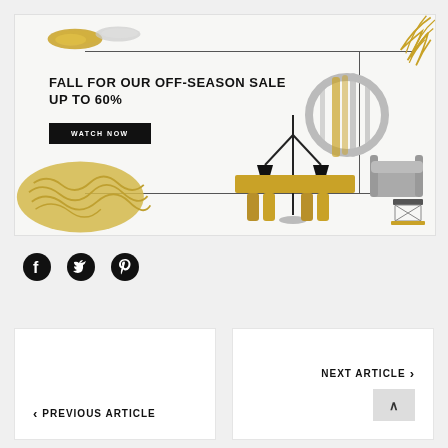[Figure (illustration): Luxury furniture sale banner advertisement with text 'FALL FOR OUR OFF-SEASON SALE UP TO 60%' and a 'WATCH NOW' button. Features gold and gray decorative brush strokes, palm leaves, a circular mirror, floor lamp, gold dining table, gray armchair, and side table on a white background.]
[Figure (illustration): Social media icons: Facebook, Twitter, Pinterest in black]
〈 PREVIOUS ARTICLE
NEXT ARTICLE 〉